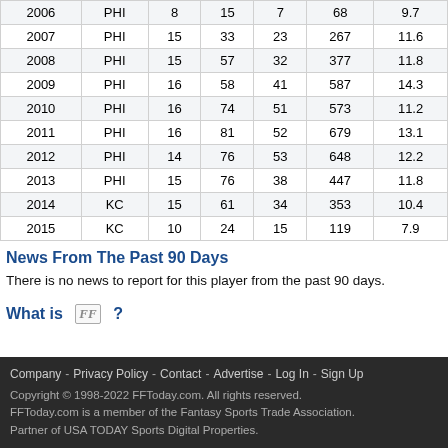| Year | Team | G | Rec | Tgt | Yds | Avg |
| --- | --- | --- | --- | --- | --- | --- |
| 2006 | PHI | 8 | 15 | 7 | 68 | 9.7 |
| 2007 | PHI | 15 | 33 | 23 | 267 | 11.6 |
| 2008 | PHI | 15 | 57 | 32 | 377 | 11.8 |
| 2009 | PHI | 16 | 58 | 41 | 587 | 14.3 |
| 2010 | PHI | 16 | 74 | 51 | 573 | 11.2 |
| 2011 | PHI | 16 | 81 | 52 | 679 | 13.1 |
| 2012 | PHI | 14 | 76 | 53 | 648 | 12.2 |
| 2013 | PHI | 15 | 76 | 38 | 447 | 11.8 |
| 2014 | KC | 15 | 61 | 34 | 353 | 10.4 |
| 2015 | KC | 10 | 24 | 15 | 119 | 7.9 |
News From The Past 90 Days
There is no news to report for this player from the past 90 days.
What is FF ?
Click the icon to add a player to My FF Today Track Players. Track Players allows you, including your own custom news page and highlighting your players on stat. use My FF Today.
Company - Privacy Policy - Contact - Advertise - Log In - Sign Up
Copyright © 1998-2022 FFToday.com. All rights reserved.
FFToday.com is a member of the Fantasy Sports Trade Association.
Partner of USA TODAY Sports Digital Properties.